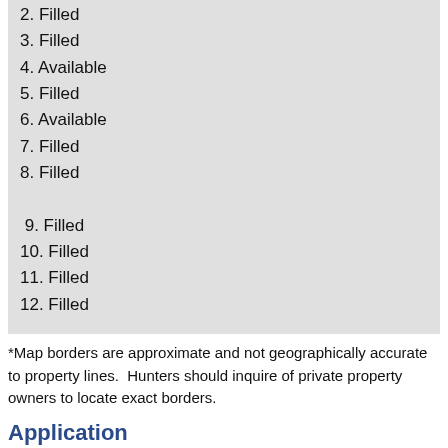2. Filled
3. Filled
4. Available
5. Filled
6. Available
7. Filled
8. Filled
9. Filled
10. Filled
11. Filled
12. Filled
*Map borders are approximate and not geographically accurate to property lines.  Hunters should inquire of private property owners to locate exact borders.
Application
Download Information Packet and Application
Online Reporting